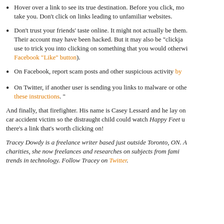Hover over a link to see its true destination. Before you click, mo... take you. Don't click on links leading to unfamiliar websites.
Don't trust your friends' taste online. It might not actually be them... Their account may have been hacked. But it may also be "clickja... use to trick you into clicking on something that you would otherwi... Facebook "Like" button).
On Facebook, report scam posts and other suspicious activity by...
On Twitter, if another user is sending you links to malware or othe... these instructions. "
And finally, that firefighter. His name is Casey Lessard and he lay on... car accident victim so the distraught child could watch Happy Feet u... there's a link that's worth clicking on!
Tracey Dowdy is a freelance writer based just outside Toronto, ON. A... charities, she now freelances and researches on subjects from fami... trends in technology. Follow Tracey on Twitter.